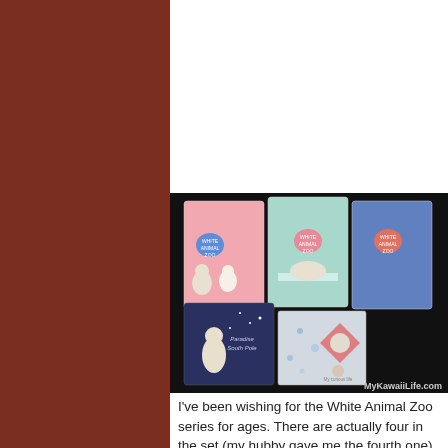Pooh letter set and the Daisy letter set.
My uncle also gave me five letter sets. These ones were more kawaii:
[Figure (photo): Five kawaii letter sets displayed on a dark background, including White Animal Zoo series sets and Paradise South Pole set. Watermark reads MyKawaiiLife.com]
I've been wishing for the White Animal Zoo series for ages. There are actually four in the set (my hubby gave me the fourth one). I love